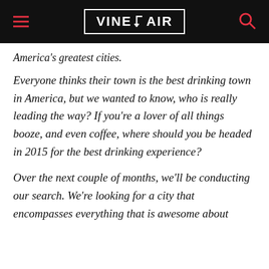VINEPAIR
America's greatest cities.
Everyone thinks their town is the best drinking town in America, but we wanted to know, who is really leading the way? If you're a lover of all things booze, and even coffee, where should you be headed in 2015 for the best drinking experience?
Over the next couple of months, we'll be conducting our search. We're looking for a city that encompasses everything that is awesome about